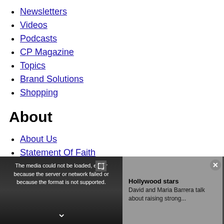Newsletters
Videos
Podcasts
CP Magazine
Topics
Brand Solutions
Shopping
About
About Us
Statement Of Faith
Leadership
General Disclaimer
Permissions Policy
Editorial Policy
Terms Of Service
[Figure (screenshot): Video player overlay showing error message: 'The media could not be loaded, either because the server or network failed or because the format is not supported.' with a video thumbnail of two people and text about Hollywood stars David and Maria Barrera talk about raising strong...]